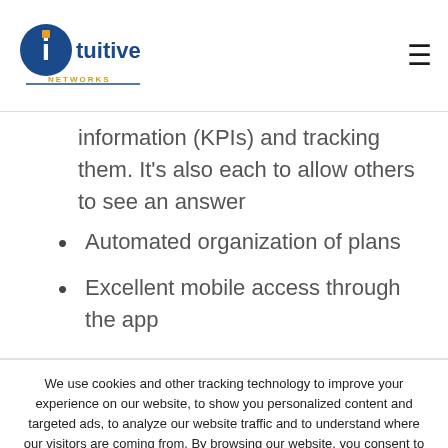Intuitive Networks
information (KPIs) and tracking them. It’s also each to allow others to see an answer
Automated organization of plans
Excellent mobile access through the app
We use cookies and other tracking technology to improve your experience on our website, to show you personalized content and targeted ads, to analyze our website traffic and to understand where our visitors are coming from. By browsing our website, you consent to our use of cookies and other tracking technologies.
I AGREE   Change Preferences   Learn more about how we use cookies